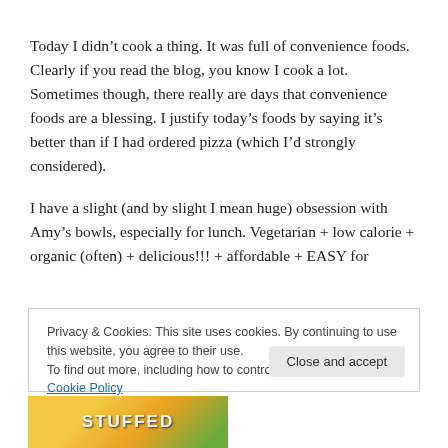Today I didn't cook a thing. It was full of convenience foods. Clearly if you read the blog, you know I cook a lot. Sometimes though, there really are days that convenience foods are a blessing. I justify today's foods by saying it's better than if I had ordered pizza (which I'd strongly considered).
I have a slight (and by slight I mean huge) obsession with Amy's bowls, especially for lunch. Vegetarian + low calorie + organic (often) + delicious!!! + affordable + EASY for
Privacy & Cookies: This site uses cookies. By continuing to use this website, you agree to their use.
To find out more, including how to control cookies, see here: Cookie Policy
Close and accept
[Figure (photo): Partial image at bottom of page showing colorful food packaging with the word STUFFED visible in white bold letters on a yellow/green background]